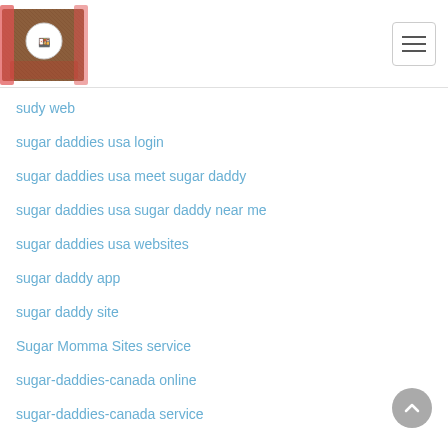Website header with logo image and hamburger menu button
sudy web
sugar daddies usa login
sugar daddies usa meet sugar daddy
sugar daddies usa sugar daddy near me
sugar daddies usa websites
sugar daddy app
sugar daddy site
Sugar Momma Sites service
sugar-daddies-canada online
sugar-daddies-canada service